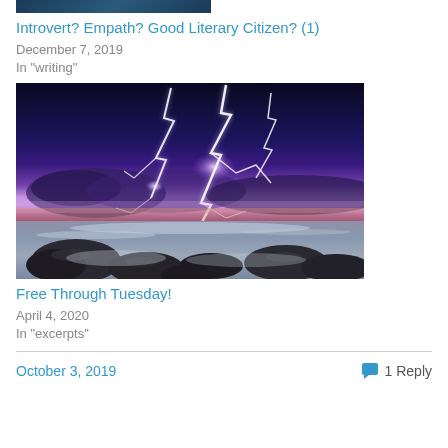[Figure (photo): Partial top of an image, dark teal/blue tones, appears to be a person or figure]
Introvert? Empath? Good Literary Citizen? (1)
December 7, 2019
In "writing"
[Figure (photo): Lightning storm over ocean with rocks in foreground, dramatic purple and blue sky with bright lightning bolts]
Free Through Tuesday!
April 4, 2020
In "excerpts"
October 3, 2019
1 Reply